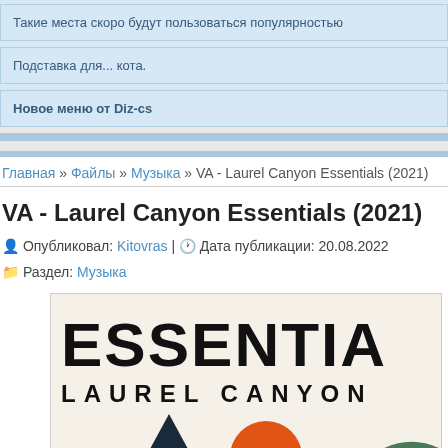Такие места скоро будут пользоваться популярностью
Подставка для... кота.
Новое меню от Diz-cs
Главная » Файлы » Музыка » VA - Laurel Canyon Essentials (2021)
VA - Laurel Canyon Essentials (2021)
Опубликовал: Kitovras | Дата публикации: 20.08.2022
Раздел: Музыка
[Figure (photo): Album cover for VA - Laurel Canyon Essentials (2021) showing large bold text 'ESSENTIALS' and 'LAUREL CANYON' with abstract shapes: dark triangle, orange circle, green arc on cream background]